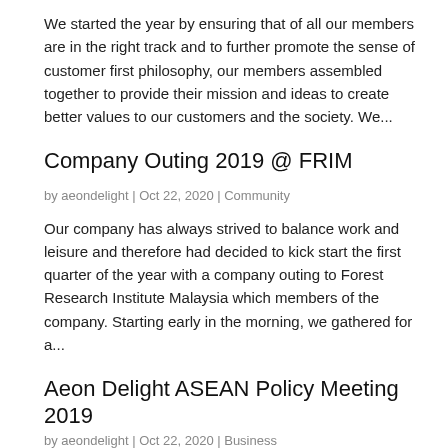We started the year by ensuring that of all our members are in the right track and to further promote the sense of customer first philosophy, our members assembled together to provide their mission and ideas to create better values to our customers and the society. We...
Company Outing 2019 @ FRIM
by aeondelight | Oct 22, 2020 | Community
Our company has always strived to balance work and leisure and therefore had decided to kick start the first quarter of the year with a company outing to Forest Research Institute Malaysia which members of the company. Starting early in the morning, we gathered for a...
Aeon Delight ASEAN Policy Meeting 2019
by aeondelight | Oct 22, 2020 | Business